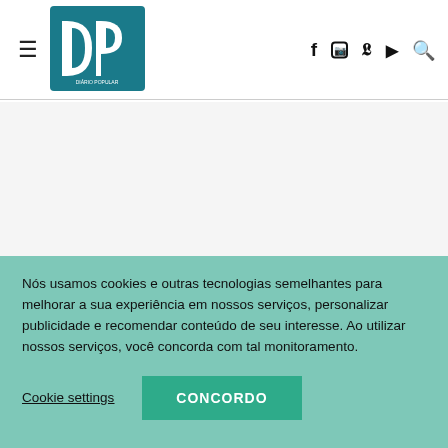≡ DP (Diário Popular logo) f ○ ✓ ▶ ⌕
NOTÍCIAS RELACIONADAS
Nós usamos cookies e outras tecnologias semelhantes para melhorar a sua experiência em nossos serviços, personalizar publicidade e recomendar conteúdo de seu interesse. Ao utilizar nossos serviços, você concorda com tal monitoramento.
Cookie settings   CONCORDO